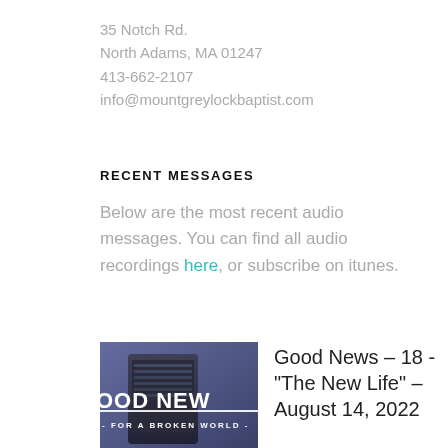35 Notch Rd.
North Adams, MA 01247
413-662-2107
info@mountgreylockbaptist.com
RECENT MESSAGES
Below are the most recent audio messages. You can find all audio recordings here, or subscribe on itunes.
[Figure (photo): Book cover image showing 'GOOD NEWS FOR A BROKEN WORLD' text on a dark blue/purple background with a tablet device visible]
Good News – 18 -"The New Life" – August 14, 2022